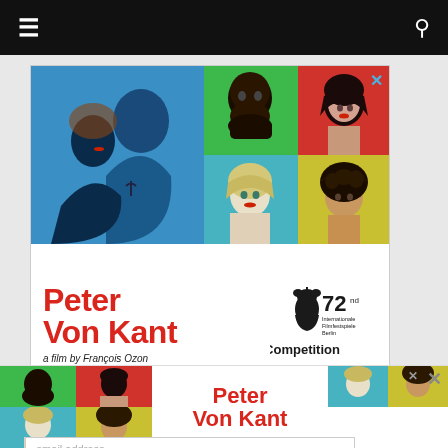Navigation bar with hamburger menu and search icon
[Figure (illustration): Advertisement for 'Peter Von Kant' film by François Ozon. Shows pop-art style portraits and film festival competition badge for 72nd Internationale Filmfestspiele Berlin.]
Get Our Daily Newsletter
[Figure (illustration): Bottom banner advertisement for 'Peter Von Kant' film with pop-art style character portraits.]